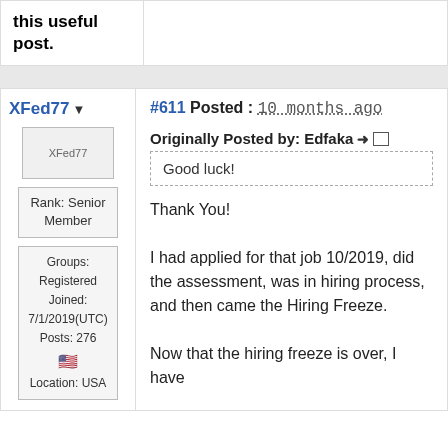this useful post.
#611 Posted : 10 months ago
XFed77
[Figure (other): Avatar image placeholder for XFed77]
Rank: Senior Member
Groups: Registered
Joined: 7/1/2019(UTC)
Posts: 276
🇺🇸
Location: USA
Originally Posted by: Edfaka
Good luck!
Thank You!

I had applied for that job 10/2019, did the assessment, was in hiring process, and then came the Hiring Freeze.

Now that the hiring freeze is over, I have